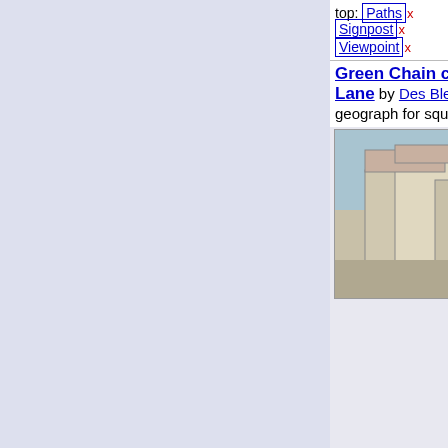top: Paths x  Signpost x  Viewpoint x
Green Chain crosses Marvels Lane by Des Blenkinsopp
geograph for square TQ4
[Figure (photo): Photo of Green Chain crosses Marvels Lane - a building and signpost visible]
The Green Chain Walks are a s routes linking parks and woodla and... (more)
Tags: type: Geograph x  lon distance path: Green Chain
top: Paths x
top: Suburb, Urban Fringe x
Green Chain Signpost, Mottingham Lane by De Blenkinsopp
geograph for square TQ4
[Figure (photo): Photo of Green Chain Signpost, Mottingham Lane - green signpost on street corner]
The Green Chain Walks are a s routes linking parks and woodla and... (more)
Tags: Footpath Signpost x
Geograph